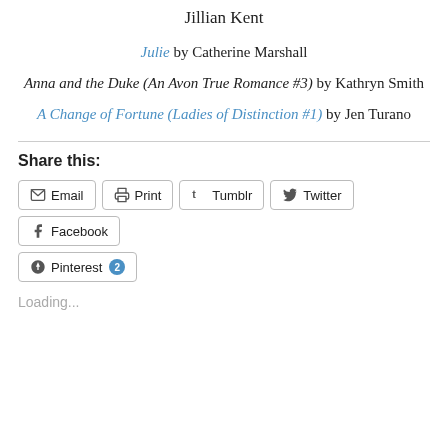Jillian Kent
Julie by Catherine Marshall
Anna and the Duke (An Avon True Romance #3) by Kathryn Smith
A Change of Fortune (Ladies of Distinction #1) by Jen Turano
Share this:
Email
Print
Tumblr
Twitter
Facebook
Pinterest 2
Loading...